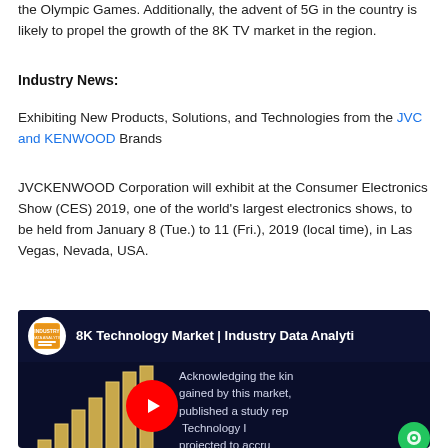the Olympic Games. Additionally, the advent of 5G in the country is likely to propel the growth of the 8K TV market in the region.
Industry News:
Exhibiting New Products, Solutions, and Technologies from the JVC and KENWOOD Brands
JVCKENWOOD Corporation will exhibit at the Consumer Electronics Show (CES) 2019, one of the world's largest electronics shows, to be held from January 8 (Tue.) to 11 (Fri.), 2019 (local time), in Las Vegas, Nevada, USA.
[Figure (screenshot): Embedded YouTube video thumbnail showing '8K Technology Market | Industry Data Analytics' with a bar chart on dark navy background, a YouTube play button, overlaid text about market study, and a green chat bubble icon in the corner.]